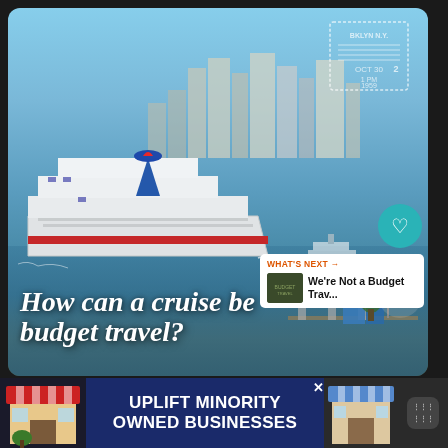[Figure (photo): A large cruise ship (Carnival) in a port waterway with blue sky, city skyline in background. Text overlay reads 'How can a cruise be budget travel?' in white italic script. A postage stamp graphic appears in the upper right. Social interaction buttons (heart=146) and a 'What's Next' panel showing 'We're Not a Budget Trav...' appear on the right side.]
[Figure (infographic): Advertisement banner at the bottom: 'UPLIFT MINORITY OWNED BUSINESSES' with store/shop illustrations on either side and a weather app icon on the far right.]